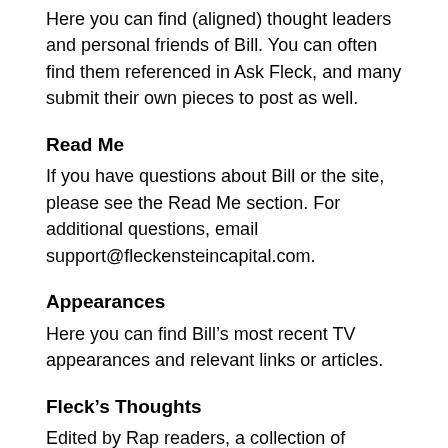Here you can find (aligned) thought leaders and personal friends of Bill. You can often find them referenced in Ask Fleck, and many submit their own pieces to post as well.
Read Me
If you have questions about Bill or the site, please see the Read Me section. For additional questions, email support@fleckensteincapital.com.
Appearances
Here you can find Bill’s most recent TV appearances and relevant links or articles.
Fleck’s Thoughts
Edited by Rap readers, a collection of favorite